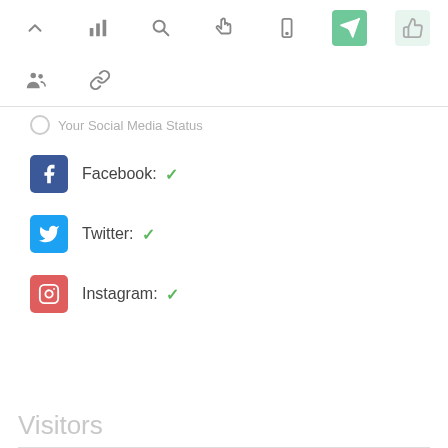[Figure (screenshot): Top navigation toolbar row 1 with icons: chevron up, bar chart, search, cursor/hand, mobile, active green location/pin button, light green thumbs-up button]
[Figure (screenshot): Second toolbar row with group/people icon and chain/link icon]
Your Social Media Status
Facebook: ✓
Twitter: ✓
Instagram: ✓
Visitors